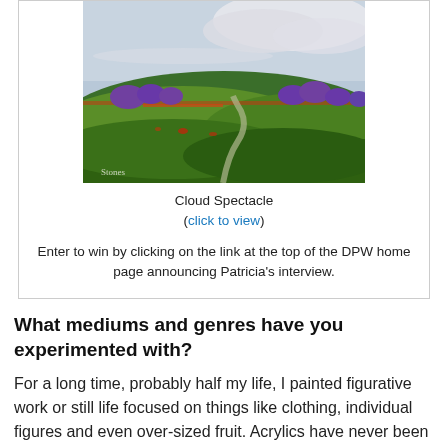[Figure (illustration): A landscape painting titled 'Cloud Spectacle' showing rolling green hills, purple trees along the horizon, a winding path, and dramatic clouds in a blue-grey sky. Artist signature visible in lower left.]
Cloud Spectacle
(click to view)
Enter to win by clicking on the link at the top of the DPW home page announcing Patricia's interview.
What mediums and genres have you experimented with?
For a long time, probably half my life, I painted figurative work or still life focused on things like clothing, individual figures and even over-sized fruit. Acrylics have never been a go-to for me though I have used them for special project pieces.